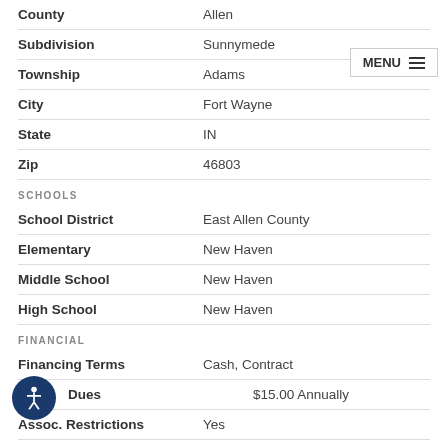| Field | Value |
| --- | --- |
| County | Allen |
| Subdivision | Sunnymede |
| Township | Adams |
| City | Fort Wayne |
| State | IN |
| Zip | 46803 |
SCHOOLS
| Field | Value |
| --- | --- |
| School District | East Allen County |
| Elementary | New Haven |
| Middle School | New Haven |
| High School | New Haven |
FINANCIAL
| Field | Value |
| --- | --- |
| Financing Terms | Cash, Contract |
| Dues | $15.00 Annually |
| Assoc. Restrictions | Yes |